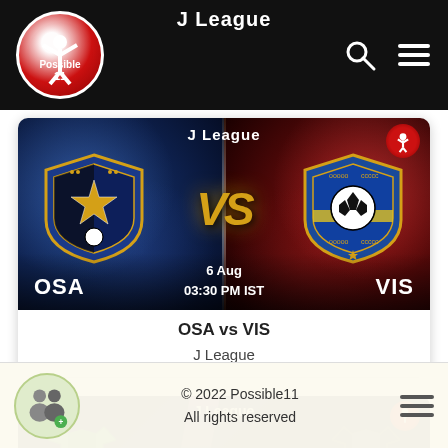J League
[Figure (screenshot): Match banner for OSA vs VIS in J League. Left side blue bokeh background with OSA shield (black/blue/gold star), right side red bokeh background with VIS shield (blue/yellow soccer ball). Gold 'VS' in center. Date: 6 Aug 03:30 PM IST. Team names OSA and VIS at bottom.]
OSA vs VIS
J League
[Figure (screenshot): Partial second match card with J League label and two green jersey silhouettes visible, dark background with purple beam.]
© 2022 Possible11
All rights reserved